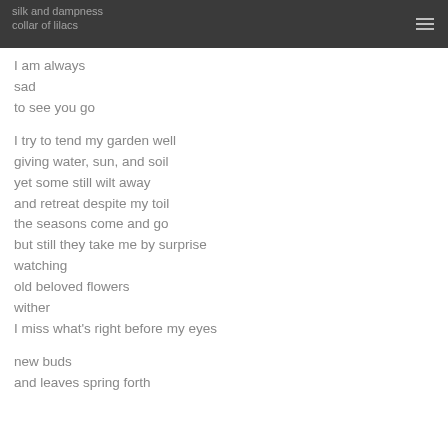silk and dampness
collar of lilacs
I am always
sad
to see you go

I try to tend my garden well
giving water, sun, and soil
yet some still wilt away
and retreat despite my toil
the seasons come and go
but still they take me by surprise
watching
old beloved flowers
wither
I miss what's right before my eyes

new buds
and leaves spring forth